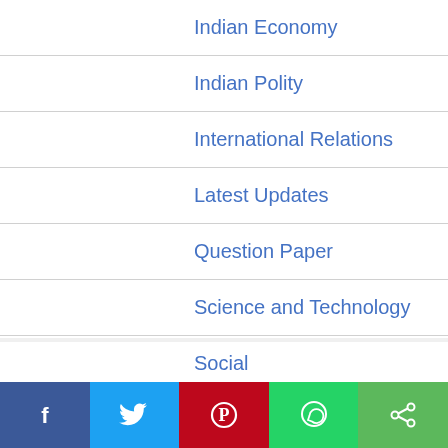Indian Economy
Indian Polity
International Relations
Latest Updates
Question Paper
Science and Technology
Social
UPSC
NEW AUTHORS ARE WELCOME
[Figure (other): Social share bar with Facebook, Twitter, Pinterest, WhatsApp, and Share buttons]